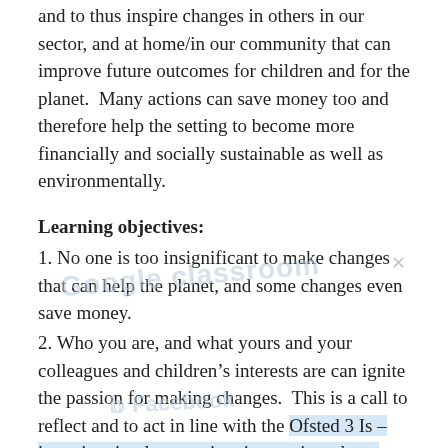and to thus inspire changes in others in our sector, and at home/in our community that can improve future outcomes for children and for the planet.  Many actions can save money too and therefore help the setting to become more financially and socially sustainable as well as environmentally.
Learning objectives:
1. No one is too insignificant to make changes that can help the planet, and some changes even save money.
2. Who you are, and what yours and your colleagues and children's interests are can ignite the passion for making changes.  This is a call to reflect and to act in line with the Ofsted 3 Is – intention, implementation, impact in order to provide more